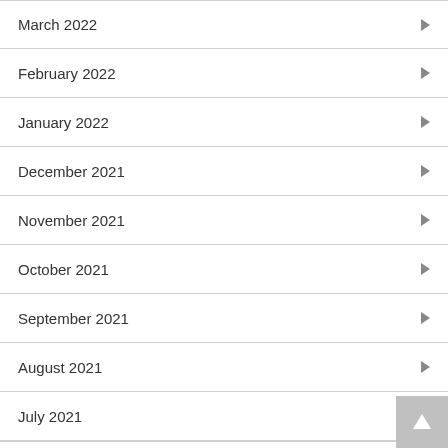March 2022
February 2022
January 2022
December 2021
November 2021
October 2021
September 2021
August 2021
July 2021
June 2021